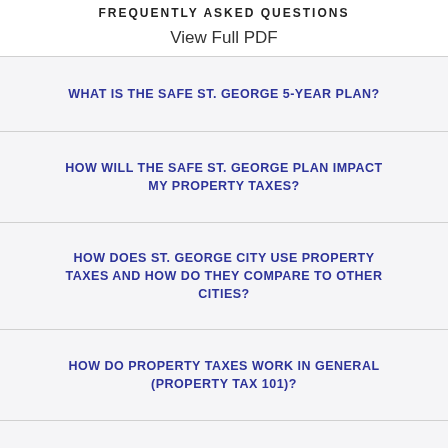FREQUENTLY ASKED QUESTIONS
View Full PDF
WHAT IS THE SAFE ST. GEORGE 5-YEAR PLAN?
HOW WILL THE SAFE ST. GEORGE PLAN IMPACT MY PROPERTY TAXES?
HOW DOES ST. GEORGE CITY USE PROPERTY TAXES AND HOW DO THEY COMPARE TO OTHER CITIES?
HOW DO PROPERTY TAXES WORK IN GENERAL (PROPERTY TAX 101)?
WHERE CAN I FIND MORE INFORMATION?
HELPFUL LINKS